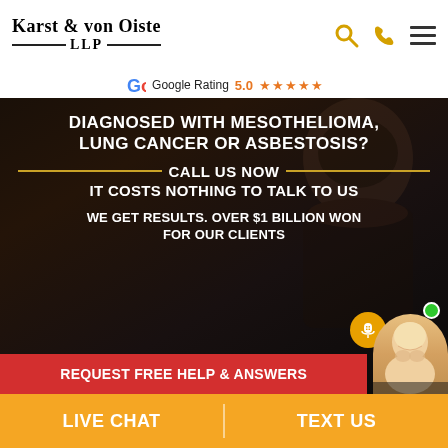[Figure (logo): Karst & von Oiste LLP law firm logo with serif text and horizontal rules]
Google Rating  5.0  ★★★★★
[Figure (photo): Dark moody hero banner with miner/worker silhouette in background. White uppercase text reads: DIAGNOSED WITH MESOTHELIOMA, LUNG CANCER OR ASBESTOSIS? / CALL US NOW / IT COSTS NOTHING TO TALK TO US / WE GET RESULTS. OVER $1 BILLION WON FOR OUR CLIENTS. Red CTA button: REQUEST FREE HELP & ANSWERS. Chat avatar with microphone bubble and online indicator.]
LIVE CHAT
TEXT US